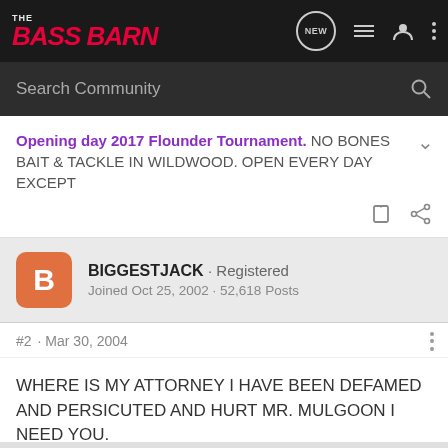THE BASS BARN
Search Community
Opening day 2017 Flounder Tournament. NO BONES BAIT & TACKLE IN WILDWOOD. OPEN EVERY DAY EXCEPT
BIGGESTJACK · Registered
Joined Oct 25, 2002 · 52,618 Posts
#2 · Mar 30, 2004
WHERE IS MY ATTORNEY I HAVE BEEN DEFAMED AND PERSICUTED AND HURT MR. MULGOON I NEED YOU.